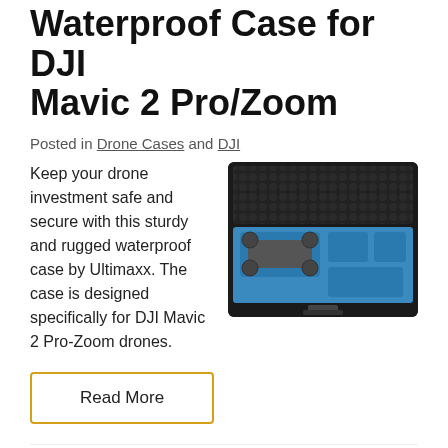Waterproof Case for DJI Mavic 2 Pro/Zoom
Posted in Drone Cases and DJI
Keep your drone investment safe and secure with this sturdy and rugged waterproof case by Ultimaxx. The case is designed specifically for DJI Mavic 2 Pro-Zoom drones.
[Figure (photo): Black waterproof hard case open showing blue foam interior with DJI Mavic 2 drone components]
Read More
Mini Drone Carrying Case for DJI Spark
Posted in Drone Cases and DJI